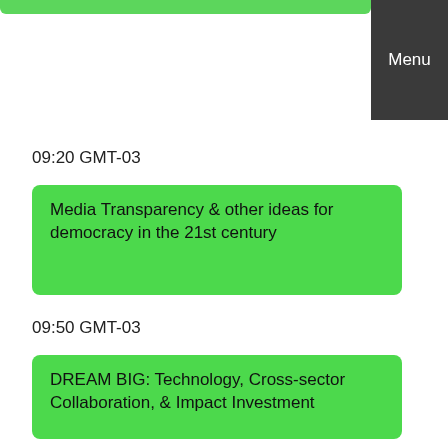Menu
09:20 GMT-03
Media Transparency & other ideas for democracy in the 21st century
09:50 GMT-03
DREAM BIG: Technology, Cross-sector Collaboration, & Impact Investment
12:00 GMT-03
LUNCH (Local Restaurants) w/ Featured Artists Etc.